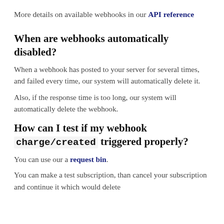More details on available webhooks in our API reference
When are webhooks automatically disabled?
When a webhook has posted to your server for several times, and failed every time, our system will automatically delete it.
Also, if the response time is too long, our system will automatically delete the webhook.
How can I test if my webhook charge/created triggered properly?
You can use our a request bin.
You can make a test subscription, than cancel your subscription and continue it which would delete...